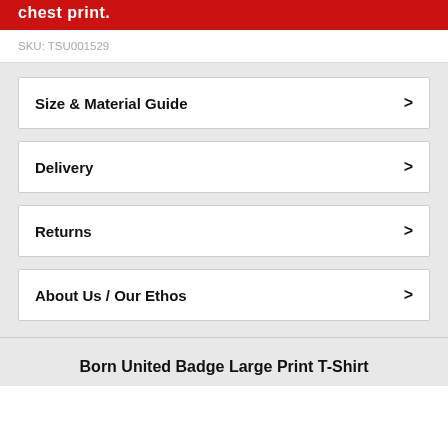chest print.
SKU: TSU001529
Size & Material Guide
Delivery
Returns
About Us / Our Ethos
Born United Badge Large Print T-Shirt